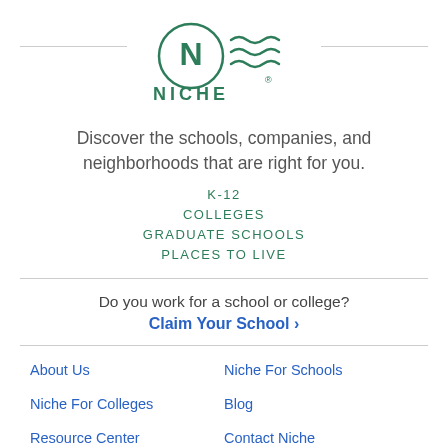[Figure (logo): Niche logo with circle N and wave lines in green, with text NICHE below]
Discover the schools, companies, and neighborhoods that are right for you.
K-12
COLLEGES
GRADUATE SCHOOLS
PLACES TO LIVE
Do you work for a school or college?
Claim Your School ›
About Us
Niche For Schools
Niche For Colleges
Blog
Resource Center
Contact Niche